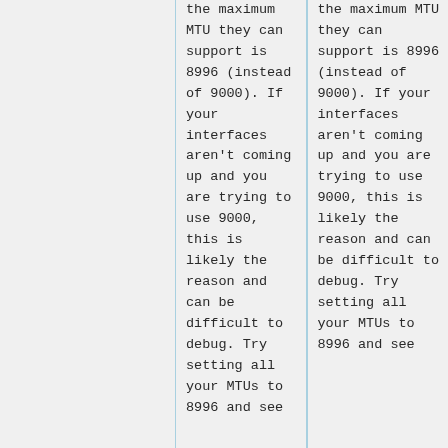the maximum MTU they can support is 8996 (instead of 9000).  If your interfaces aren't coming up and you are trying to use 9000, this is likely the reason and can be difficult to debug.  Try setting all your MTUs to 8996 and see
the maximum MTU they can support is 8996 (instead of 9000).  If your interfaces aren't coming up and you are trying to use 9000, this is likely the reason and can be difficult to debug.  Try setting all your MTUs to 8996 and see